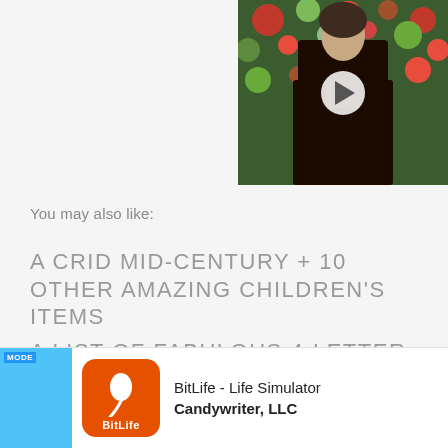[Figure (photo): Woman in black coat standing in front of floral background with a play button overlay, video thumbnail in top right]
You may also like:
A CRID MID-CENTURY + 10 OTHER AMAZING CHILDREN'S ITEMS
A LIST OF FABULOUS 4-LETTER GIRL NAMES FOR YOUR LITTLE ONE
[Figure (screenshot): Advertisement banner: BitLife - Life Simulator by Candywriter, LLC with app icon]